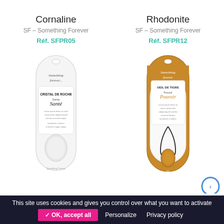Cornaline
SF – Something Forever
Réf. SFPR05
[Figure (photo): Product photo of Cornaline – a white oval crystal pendant in packaging, labeled CRISTAL DE ROCHE Santé]
Rhodonite
SF – Something Forever
Réf. SFPR12
[Figure (photo): Product photo of Rhodonite – a brown/amber stone pendant on black cord in gold and white packaging, labeled OEIL DE TIGRE Pouvoir]
This site uses cookies and gives you control over what you want to activate  ✓ OK, accept all  Personalize  Privacy policy